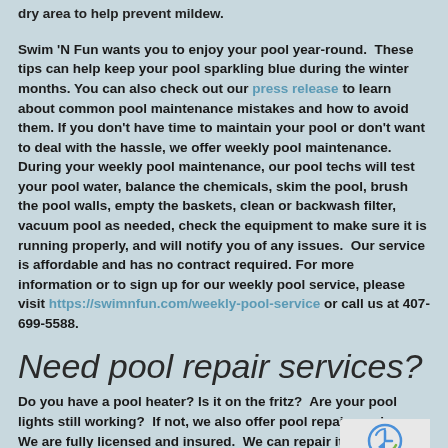dry area to help prevent mildew.
Swim 'N Fun wants you to enjoy your pool year-round. These tips can help keep your pool sparkling blue during the winter months. You can also check out our press release to learn about common pool maintenance mistakes and how to avoid them. If you don't have time to maintain your pool or don't want to deal with the hassle, we offer weekly pool maintenance. During your weekly pool maintenance, our pool techs will test your pool water, balance the chemicals, skim the pool, brush the pool walls, empty the baskets, clean or backwash filter, vacuum pool as needed, check the equipment to make sure it is running properly, and will notify you of any issues. Our service is affordable and has no contract required. For more information or to sign up for our weekly pool service, please visit https://swimnfun.com/weekly-pool-service or call us at 407-699-5588.
Need pool repair services?
Do you have a pool heater? Is it on the fritz? Are your pool lights still working? If not, we also offer pool repair services. We are fully licensed and insured. We can repair items such as pool filters, pool pumps, pool lights, pool heaters, pool